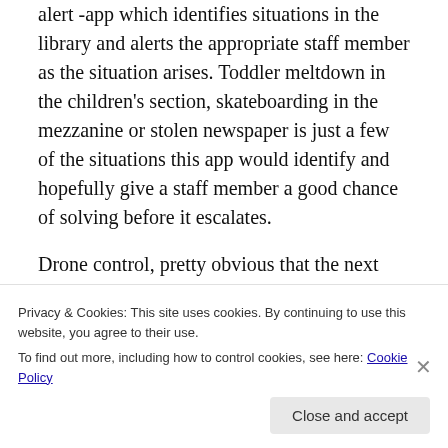alert -app which identifies situations in the library and alerts the appropriate staff member as the situation arises. Toddler meltdown in the children's section, skateboarding in the mezzanine or stolen newspaper is just a few of the situations this app would identify and hopefully give a staff member a good chance of solving before it escalates.
Drone control, pretty obvious that the next level of remote services will be by drones. Good bye book-mobile, hello Library-Predator drone. Controling the drone from the Lphone is a breeze, just tilt the phone to tilt the drone, and deliver library services to any location in the service area
Privacy & Cookies: This site uses cookies. By continuing to use this website, you agree to their use.
To find out more, including how to control cookies, see here: Cookie Policy